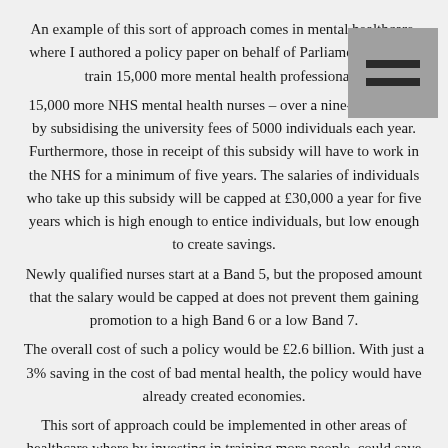An example of this sort of approach comes in mental healthcare, where I authored a policy paper on behalf of Parliament Street to train 15,000 more mental health professionals:
15,000 more NHS mental health nurses – over a nine-year period by subsidising the university fees of 5000 individuals each year. Furthermore, those in receipt of this subsidy will have to work in the NHS for a minimum of five years. The salaries of individuals who take up this subsidy will be capped at £30,000 a year for five years which is high enough to entice individuals, but low enough to create savings.
Newly qualified nurses start at a Band 5, but the proposed amount that the salary would be capped at does not prevent them gaining promotion to a high Band 6 or a low Band 7.
The overall cost of such a policy would be £2.6 billion. With just a 3% saving in the cost of bad mental health, the policy would have already created economies.
This sort of approach could be implemented in other areas of healthcare where by investing in training more people, could save money in the long term. I believe that such an approach in nursing would invigorate people into studying it at university and with only 5000 subsidised degrees a year – competition would be stiff meaning we get the brightest and the best into